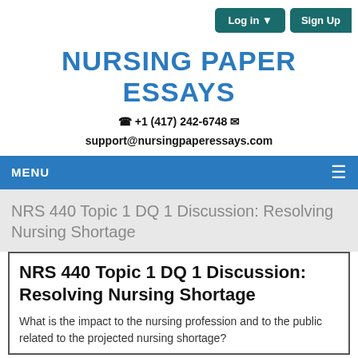Log in  Sign Up
NURSING PAPER ESSAYS
+ 1 (417) 242-6748  support@nursingpaperessays.com
MENU
NRS 440 Topic 1 DQ 1 Discussion: Resolving Nursing Shortage
NRS 440 Topic 1 DQ 1 Discussion: Resolving Nursing Shortage
What is the impact to the nursing profession and to the public related to the projected nursing shortage?